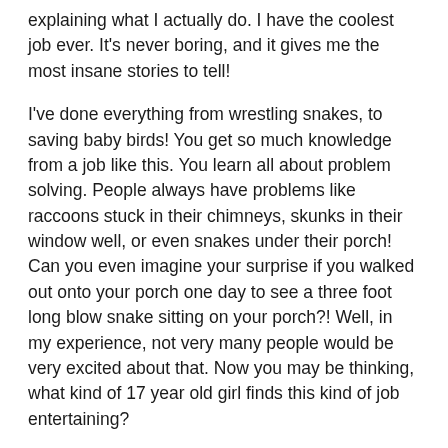explaining what I actually do. I have the coolest job ever. It's never boring, and it gives me the most insane stories to tell!
I've done everything from wrestling snakes, to saving baby birds! You get so much knowledge from a job like this. You learn all about problem solving. People always have problems like raccoons stuck in their chimneys, skunks in their window well, or even snakes under their porch! Can you even imagine your surprise if you walked out onto your porch one day to see a three foot long blow snake sitting on your porch?! Well, in my experience, not very many people would be very excited about that. Now you may be thinking, what kind of 17 year old girl finds this kind of job entertaining?
I've never been the kind of girl who screams when she sees a spider or a snake. I was the girl who was wrestling around with the guys and looking for snakes to take home for the weekend. Now, you would never classify me as the girl who works as a part time trapper. I wear high heels at least three times a week,